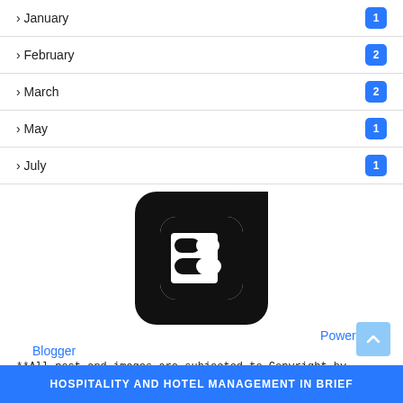› January  1
› February  2
› March  2
› May  1
› July  1
[Figure (logo): Blogger logo: black rounded square with white letter B in the center]
Powered by
Blogger
**All post and images are subjected to Copyright by Author**
HOSPITALITY AND HOTEL MANAGEMENT IN BRIEF